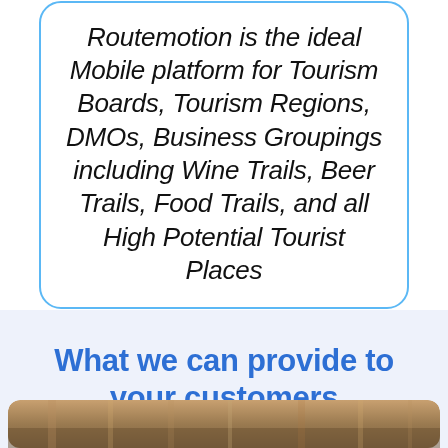Routemotion is the ideal Mobile platform for Tourism Boards, Tourism Regions, DMOs, Business Groupings including Wine Trails, Beer Trails, Food Trails, and all High Potential Tourist Places
What we can provide to your customers
[Figure (photo): Bottom strip showing a photo of a road or trail scene, partially visible]